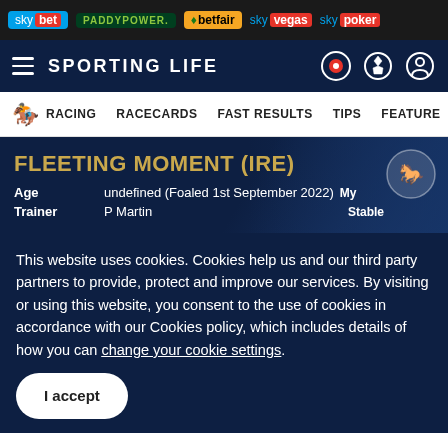sky bet | PADDYPOWER. | betfair | sky vegas | sky poker
SPORTING LIFE
RACING   RACECARDS   FAST RESULTS   TIPS   FEATURES
FLEETING MOMENT (IRE)
Age   undefined (Foaled 1st September 2022)   My Stable
Trainer   P Martin
This website uses cookies. Cookies help us and our third party partners to provide, protect and improve our services. By visiting or using this website, you consent to the use of cookies in accordance with our Cookies policy, which includes details of how you can change your cookie settings.
I accept